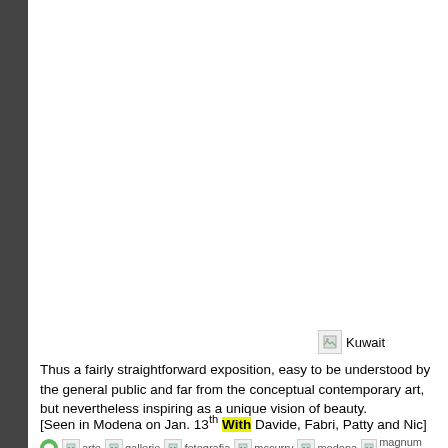[Figure (photo): Large white/blank image area taking up the upper portion of the page, with a dark left sidebar bar.]
[Figure (illustration): Broken image placeholder labeled 'Kuwait']
Thus a fairly straightforward exposition, easy to be understood by the general public and far from the conceptual contemporary art, but nevertheless inspiring as a unique vision of beauty.
[Seen in Modena on Jan. 13th With Davide, Fabri, Patty and Nic]
arte gallerie fotografia mccurry modena magnum photos